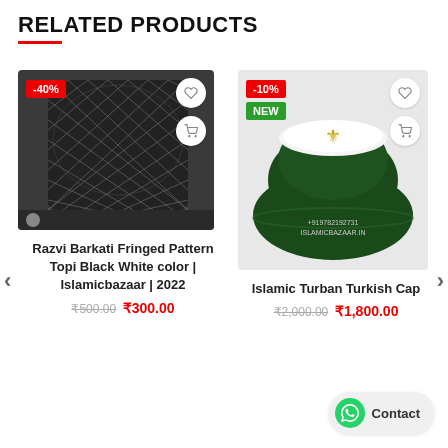RELATED PRODUCTS
[Figure (photo): Razvi Barkati Fringed Pattern Topi Black White color product photo with -40% red badge]
Razvi Barkati Fringed Pattern Topi Black White color | Islamicbazaar | 2022
₹500.00 ₹300.00
[Figure (photo): Islamic Turban Turkish Cap product photo with -10% red badge and NEW green badge]
Islamic Turban Turkish Cap
₹2,000.00 ₹1,800.00